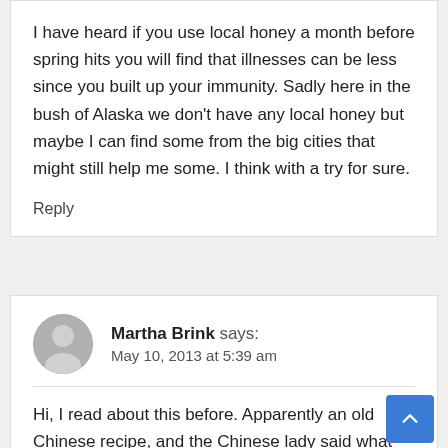I have heard if you use local honey a month before spring hits you will find that illnesses can be less since you built up your immunity. Sadly here in the bush of Alaska we don't have any local honey but maybe I can find some from the big cities that might still help me some. I think with a try for sure.
Reply
Martha Brink says: May 10, 2013 at 5:39 am
Hi, I read about this before. Apparently an old Chinese recipe, and the Chinese lady said what